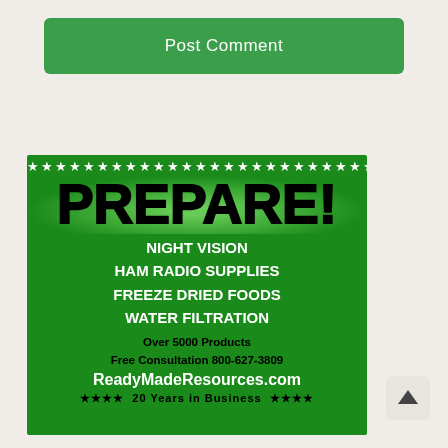Post Comment
[Figure (infographic): Green advertisement banner for ReadyMadeResources.com featuring white stars at top and bottom, large black bold text 'PREPARE!', white bold text listing 'NIGHT VISION', 'HAM RADIO SUPPLIES', 'FREEZE DRIED FOODS', 'WATER FILTRATION', black text 'Over 5000 Products', 'Free Consultation 800-627-3809', white text 'ReadyMadeResources.com', and black stars with '20 Years in Business' at the bottom.]